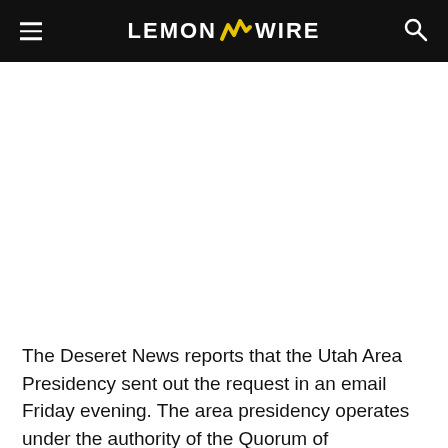LEMON WIRE
The Deseret News reports that the Utah Area Presidency sent out the request in an email Friday evening. The area presidency operates under the authority of the Quorum of